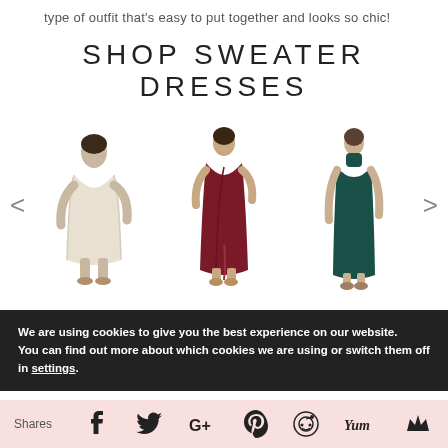type of outfit that’s easy to put together and looks so chic!
SHOP SWEATER DRESSES
[Figure (photo): Carousel of three sweater dresses: a fuzzy light grey/cream short dress, a dark burgundy wrap midi dress, and a dark teal turtleneck midi dress. Left and right navigation arrows on either side.]
We are using cookies to give you the best experience on our website.
You can find out more about which cookies we are using or switch them off in settings.
Shares [Facebook] [Twitter] [Google+] [Pinterest] [Reddit] [Yummly] [Bloglovin]